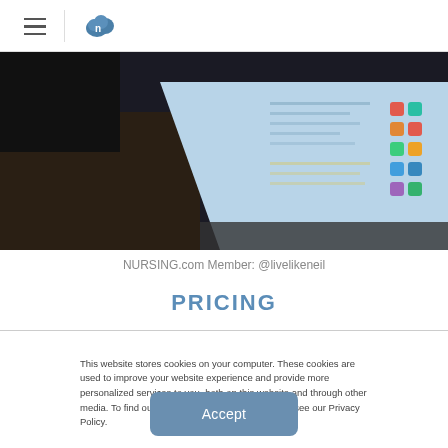NURSING.com — hamburger menu and logo
[Figure (photo): Overhead view of a person using a laptop computer, showing the screen with what appears to be a website or application interface. Dark moody lighting.]
NURSING.com Member: @livelikeneil
PRICING
This website stores cookies on your computer. These cookies are used to improve your website experience and provide more personalized services to you, both on this website and through other media. To find out more about the cookies we use, see our Privacy Policy.
Accept